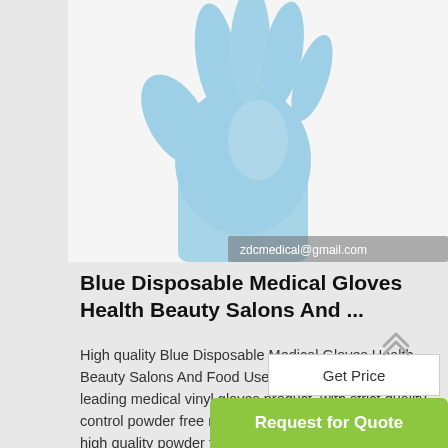[Figure (photo): Blue disposable medical glove product photo on white background with email watermark 'zdcmedical@gmail.com']
Blue Disposable Medical Gloves Health Beauty Salons And ...
High quality Blue Disposable Medical Gloves Health Beauty Salons And Food Use from China, China's leading medical vinyl gloves product, with strict quality control powder free nitrile gloves factories, producing high quality powder free nitrile gloves products.
...
Get Price
Request for Quote